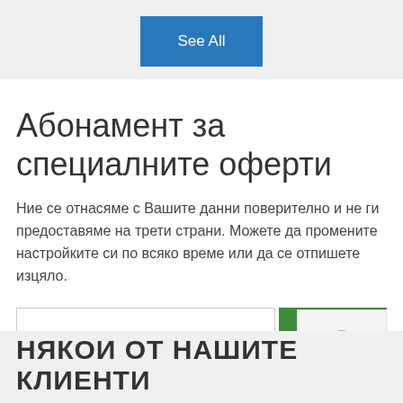[Figure (other): Blue 'See All' button centered at top of page]
Абонамент за специалните оферти
Ние се отнасяме с Вашите данни поверително и не ги предоставяме на трети страни. Можете да промените настройките си по всяко време или да се отпишете изцяло.
[Figure (other): Email input field followed by green Subscribe button, with a user avatar icon in the bottom right corner]
НЯКОИ ОТ НАШИТЕ КЛИЕНТИ